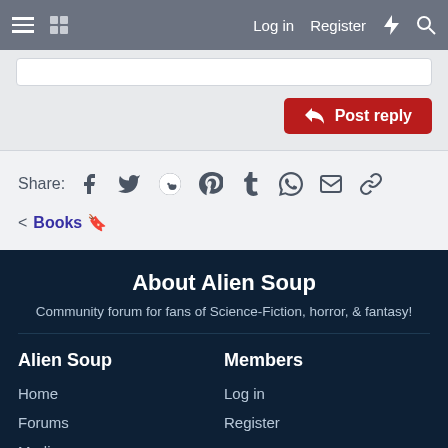Log in   Register
[Figure (screenshot): Post reply button area with white input box and red Post reply button]
Share: (social icons: Facebook, Twitter, Reddit, Pinterest, Tumblr, WhatsApp, Email, Link)
< Books 🔖
About Alien Soup
Community forum for fans of Science-Fiction, horror, & fantasy!
Alien Soup
Members
Home
Log in
Forums
Register
Media
Resources